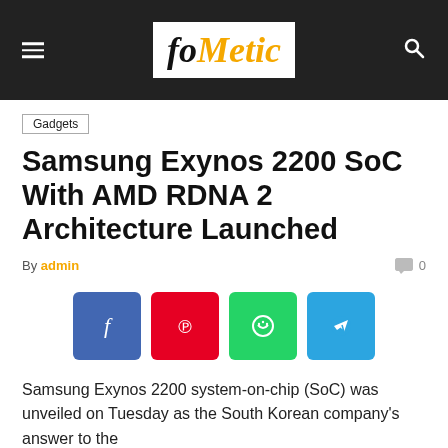foMetic
Gadgets
Samsung Exynos 2200 SoC With AMD RDNA 2 Architecture Launched
By admin  0
[Figure (infographic): Four social media share buttons: Facebook (blue), Pinterest (red), WhatsApp (green), Telegram (light blue)]
Samsung Exynos 2200 system-on-chip (SoC) was unveiled on Tuesday as the South Korean company's answer to the